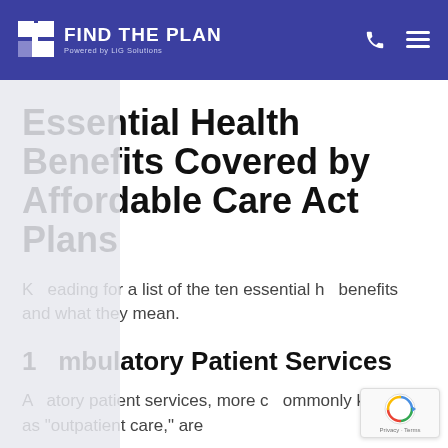FIND THE PLAN Powered by LiG Solutions
Essential Health Benefits Covered by Affordable Care Act Plans
Keep reading for a list of the ten essential health benefits and what they mean.
1 Ambulatory Patient Services
Ambulatory patient services, more commonly known as "outpatient care," are